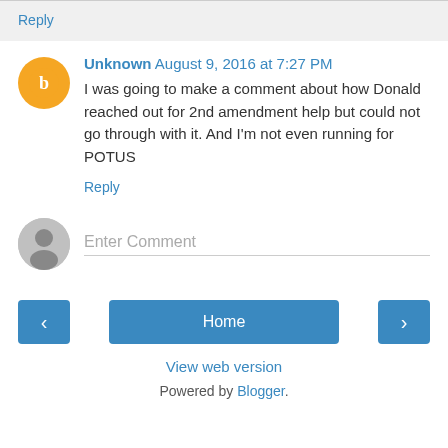Reply
Unknown  August 9, 2016 at 7:27 PM
I was going to make a comment about how Donald reached out for 2nd amendment help but could not go through with it. And I'm not even running for POTUS
Reply
Enter Comment
Home
View web version
Powered by Blogger.